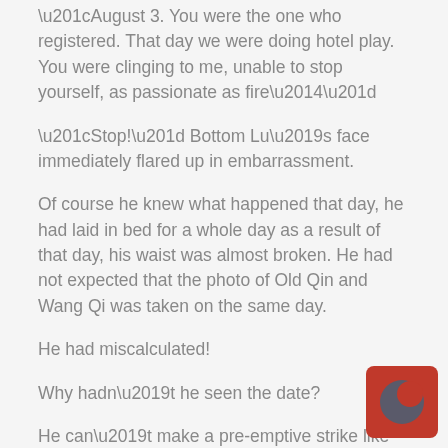“August 3. You were the one who registered. That day we were doing hotel play. You were clinging to me, unable to stop yourself, as passionate as fire—”
“Stop!” Bottom Lu’s face immediately flared up in embarrassment.
Of course he knew what happened that day, he had laid in bed for a whole day as a result of that day, his waist was almost broken. He had not expected that the photo of Old Qin and Wang Qi was taken on the same day.
He had miscalculated!
Why hadn’t he seen the date?
He can’t make a pre-emptive strike like this. And he couldn’t make a reason to safely avoid eating dinner as well as the interrogation which would come after dinner.
Bottom Lu felt incessantly guilty, yet his expression still